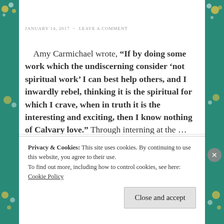JANUARY 14, 2017 ~ LEAVE A COMMENT
Amy Carmichael wrote, “If by doing some work which the undiscerning consider ‘not spiritual work’ I can best help others, and I inwardly rebel, thinking it is the spiritual for which I crave, when in truth it is the interesting and exciting, then I know nothing of Calvary love.” Through interning at the … Continue reading
Privacy & Cookies: This site uses cookies. By continuing to use this website, you agree to their use.
To find out more, including how to control cookies, see here: Cookie Policy
Close and accept